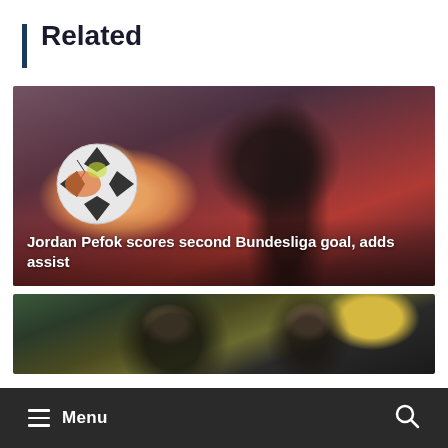Related
[Figure (photo): Soccer player Jordan Pefok in a red and white striped jersey, heading a soccer ball]
Jordan Pefok scores second Bundesliga goal, adds assist
[Figure (photo): Two soccer players on a field, one dark-skinned and one bearded wearing dark jersey]
Menu